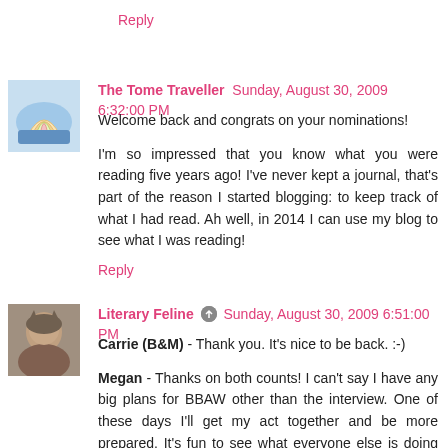Reply
The Tome Traveller  Sunday, August 30, 2009 6:32:00 PM
Welcome back and congrats on your nominations!

I'm so impressed that you know what you were reading five years ago! I've never kept a journal, that's part of the reason I started blogging: to keep track of what I had read. Ah well, in 2014 I can use my blog to see what I was reading!
Reply
Literary Feline  Sunday, August 30, 2009 6:51:00 PM
Carrie (B&M) - Thank you. It's nice to be back. :-)

Megan - Thanks on both counts! I can't say I have any big plans for BBAW other than the interview. One of these days I'll get my act together and be more prepared. It's fun to see what everyone else is doing though. Not to mention